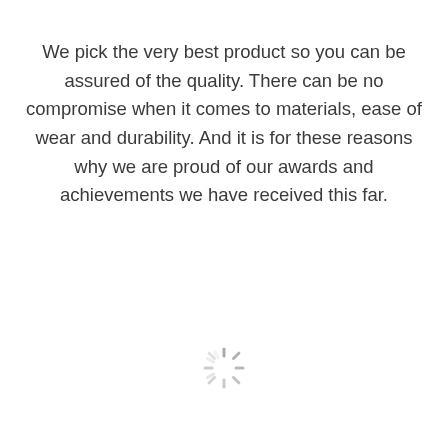We pick the very best product so you can be assured of the quality. There can be no compromise when it comes to materials, ease of wear and durability. And it is for these reasons why we are proud of our awards and achievements we have received this far.
[Figure (other): Loading spinner icon — a circular arrangement of short radial lines in gray, indicating a loading state]